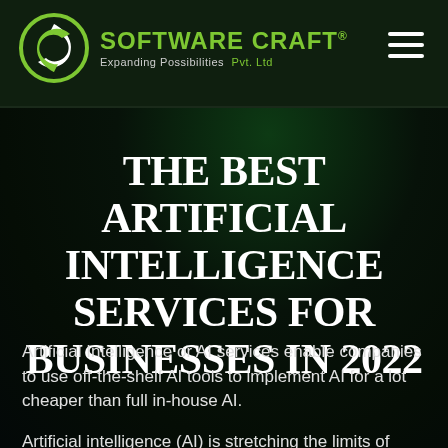[Figure (logo): Software Craft logo with circular arrow icon, green brand name 'SOFTWARE CRAFT' with registered trademark, tagline 'Expanding Possibilities Pvt. Ltd']
THE BEST ARTIFICIAL INTELLIGENCE SERVICES FOR BUSINESSES IN 2022
Artificial Intelligence or AI services enable companies to use off-the-shelf AI tools to implement AI for a lot cheaper than full in-house AI.
Artificial intelligence (AI) is stretching the limits of